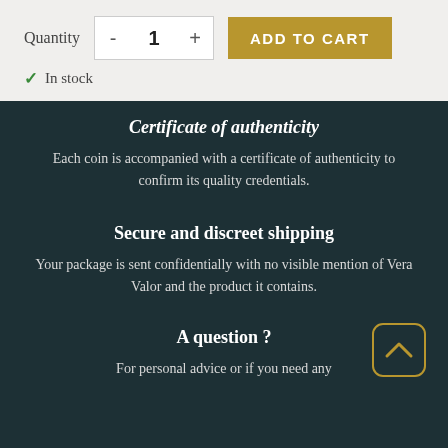Quantity  -  1  +  ADD TO CART
✓ In stock
Certificate of authenticity
Each coin is accompanied with a certificate of authenticity to confirm its quality credentials.
Secure and discreet shipping
Your package is sent confidentially with no visible mention of Vera Valor and the product it contains.
A question ?
For personal advice or if you need any